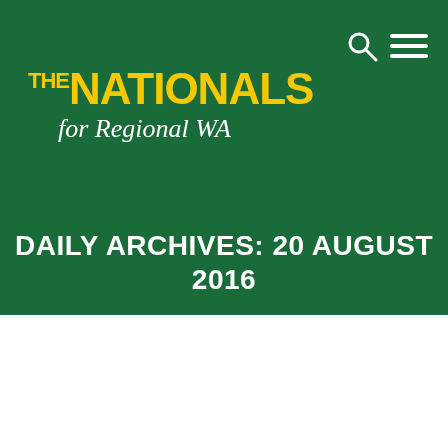[Figure (logo): The Nationals for Regional WA logo — yellow bold uppercase text 'THE NATIONALS' and white italic script 'for Regional WA' on dark green background]
DAILY ARCHIVES: 20 AUGUST 2016